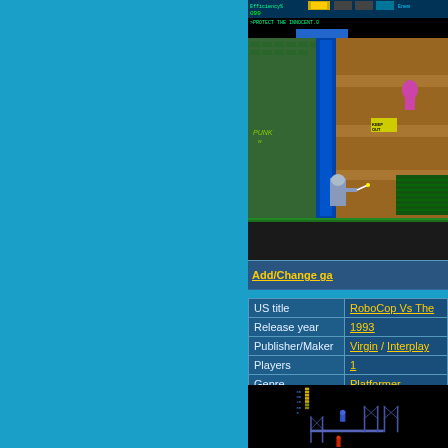[Figure (screenshot): NES/retro game screenshot of RoboCop Vs The Terminator gameplay showing a side-scrolling platformer scene. HUD at top shows Efficiency% 099 and text PROTECT THE INNOCENT. Scene shows RoboCop character in a green brick building interior with a blue door/column, and yellow/tan building exterior with pink character and KEEP OUT sign.]
Add/Change ga
| Field | Value |
| --- | --- |
| US title | RoboCop Vs The |
| Release year | 1993 |
| Publisher/Maker | Virgin / Interplay |
| Players | 1 |
| Genre | Platformer |
[Figure (screenshot): Second retro game screenshot showing RoboCop character on scaffold/platform structures with blue score display on left side showing numbers. Red enemy character visible at bottom.]